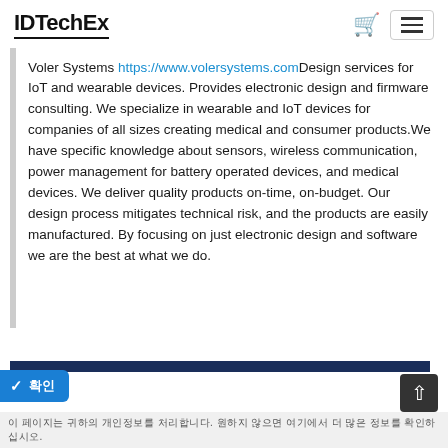IDTechEx
Voler Systems https://www.volersystems.com Design services for IoT and wearable devices. Provides electronic design and firmware consulting. We specialize in wearable and IoT devices for companies of all sizes creating medical and consumer products.We have specific knowledge about sensors, wireless communication, power management for battery operated devices, and medical devices. We deliver quality products on-time, on-budget. Our design process mitigates technical risk, and the products are easily manufactured. By focusing on just electronic design and software we are the best at what we do.
이 페이지는 귀하의 개인정보를 처리합니다. 원하지 않으면 여기에서 더 많은 정보를 확인하십시오.